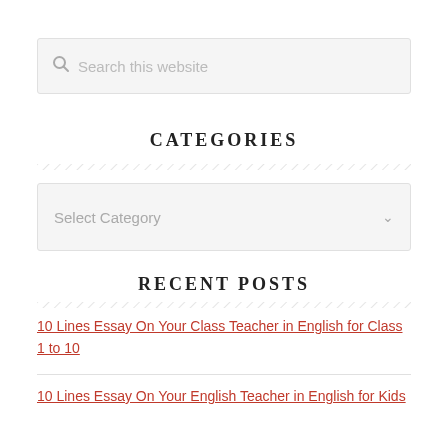[Figure (other): Search box with magnifying glass icon and placeholder text 'Search this website']
CATEGORIES
[Figure (other): Dropdown select box with placeholder 'Select Category' and a chevron arrow]
RECENT POSTS
10 Lines Essay On Your Class Teacher in English for Class 1 to 10
10 Lines Essay On Your English Teacher in English for Kids